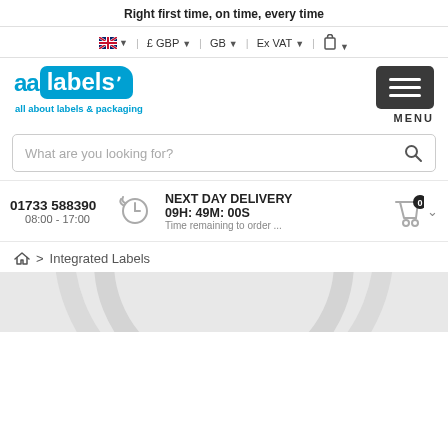Right first time, on time, every time
🇬🇧 ▼ | £ GBP ▼ | GB ▼ | Ex VAT ▼ | 🔒 ▼
[Figure (logo): aa labels logo with tagline: all about labels & packaging]
MENU
What are you looking for?
01733 588390
08:00 - 17:00
NEXT DAY DELIVERY
09H: 49M: 00S
Time remaining to order ...
> Integrated Labels